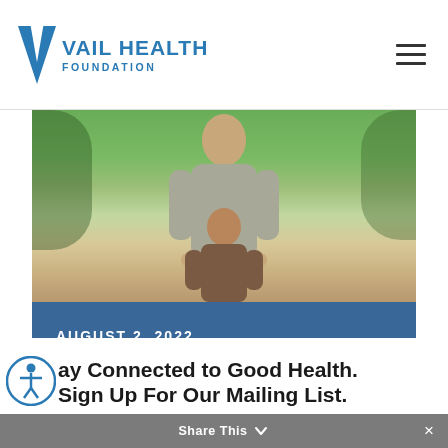[Figure (logo): Vail Health Foundation logo with blue V and text]
[Figure (photo): An older man and a young boy smiling outdoors in a park setting, with green trees in the background]
AUGUST 2, 2022
Stay Connected to Good Health. Sign Up For Our Mailing List.
Share This